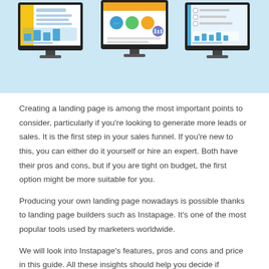[Figure (illustration): Three computer monitors on a light blue background showing website/landing page designs – left monitor has a yellow sidebar layout, center monitor shows a dashboard with colorful icons, right monitor shows a form/checklist layout.]
Creating a landing page is among the most important points to consider, particularly if you're looking to generate more leads or sales. It is the first step in your sales funnel. If you're new to this, you can either do it yourself or hire an expert. Both have their pros and cons, but if you are tight on budget, the first option might be more suitable for you.
Producing your own landing page nowadays is possible thanks to landing page builders such as Instapage. It's one of the most popular tools used by marketers worldwide.
We will look into Instapage's features, pros and cons and price in this guide.  All these insights should help you decide if Instapage is right for you.